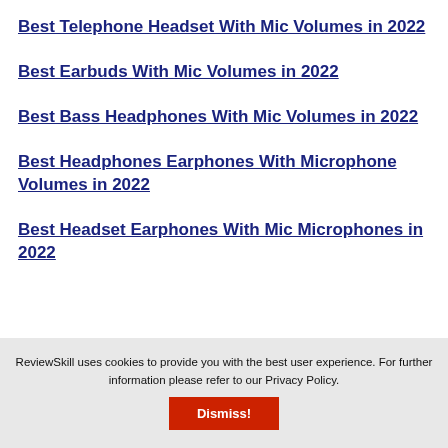Best Telephone Headset With Mic Volumes in 2022
Best Earbuds With Mic Volumes in 2022
Best Bass Headphones With Mic Volumes in 2022
Best Headphones Earphones With Microphone Volumes in 2022
Best Headset Earphones With Mic Microphones in 2022
ReviewSkill uses cookies to provide you with the best user experience. For further information please refer to our Privacy Policy.